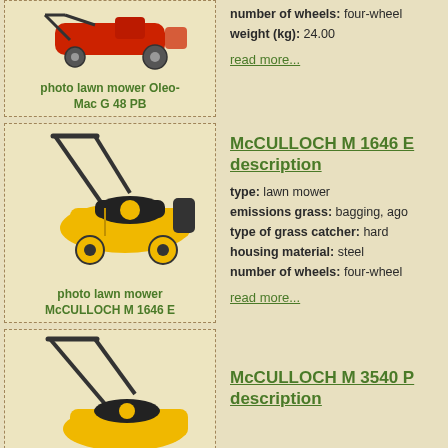[Figure (photo): Photo of Oleo-Mac G 48 PB lawn mower (red)]
photo lawn mower Oleo-Mac G 48 PB
number of wheels: four-wheel
weight (kg): 24.00
read more...
[Figure (photo): Photo of McCULLOCH M 1646 E lawn mower (yellow/black)]
photo lawn mower McCULLOCH M 1646 E
McCULLOCH M 1646 E description
type: lawn mower
emissions grass: bagging, ago
type of grass catcher: hard
housing material: steel
number of wheels: four-wheel
read more...
[Figure (photo): Photo of McCULLOCH M 3540 P lawn mower (partial, yellow)]
McCULLOCH M 3540 P description